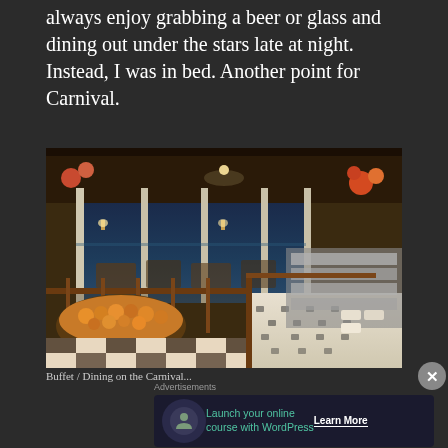always enjoy grabbing a beer or glass and dining out under the stars late at night. Instead, I was in bed. Another point for Carnival.
[Figure (photo): Interior of a cruise ship buffet dining area with wood paneling, marble tile floor, panoramic ocean view windows, food stations with fresh fruit and dishes, warm lighting]
Buffet / Dining on the Carnival...
Launch your online course with WordPress — Learn More